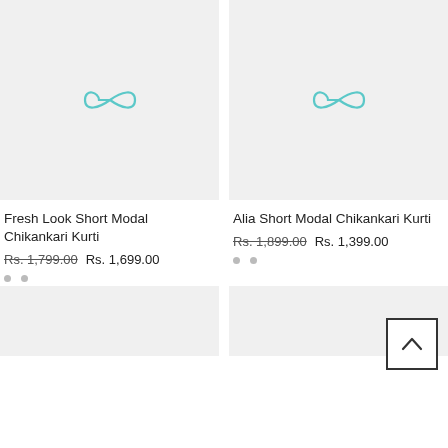[Figure (photo): Product image placeholder with light teal infinity-like loader icon on gray background - Fresh Look Short Modal Chikankari Kurti]
[Figure (photo): Product image placeholder with light teal infinity-like loader icon on gray background - Alia Short Modal Chikankari Kurti]
Fresh Look Short Modal Chikankari Kurti
Rs. 1,799.00  Rs. 1,699.00
Alia Short Modal Chikankari Kurti
Rs. 1,899.00  Rs. 1,399.00
[Figure (photo): Partial product image placeholder - bottom left]
[Figure (photo): Partial product image placeholder - bottom right]